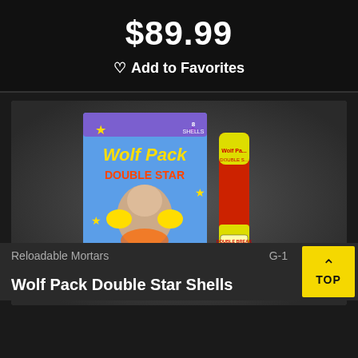$89.99
♡ Add to Favorites
[Figure (photo): Wolf Pack Double Star reloadable mortar fireworks product photo showing box and individual shells]
Reloadable Mortars
Wolf Pack Double Star Shells
G-1
TOP